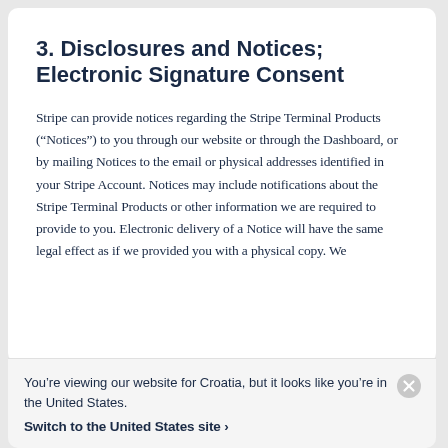3. Disclosures and Notices; Electronic Signature Consent
Stripe can provide notices regarding the Stripe Terminal Products (“Notices”) to you through our website or through the Dashboard, or by mailing Notices to the email or physical addresses identified in your Stripe Account. Notices may include notifications about the Stripe Terminal Products or other information we are required to provide to you. Electronic delivery of a Notice will have the same legal effect as if we provided you with a physical copy. We
You’re viewing our website for Croatia, but it looks like you’re in the United States.
Switch to the United States site ›